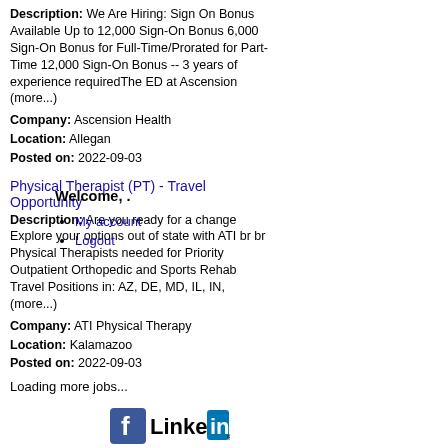Description: We Are Hiring: Sign On Bonus Available Up to 12,000 Sign-On Bonus 6,000 Sign-On Bonus for Full-Time/Prorated for Part-Time 12,000 Sign-On Bonus -- 3 years of experience requiredThe ED at Ascension (more...)
Company: Ascension Health
Location: Allegan
Posted on: 2022-09-03
Physical Therapist (PT) - Travel Opportunity
Description: Are you ready for a change Explore your options out of state with ATI br br Physical Therapists needed for Priority Outpatient Orthopedic and Sports Rehab Travel Positions in: AZ, DE, MD, IL, IN, (more...)
Company: ATI Physical Therapy
Location: Kalamazoo
Posted on: 2022-09-03
Loading more jobs...
Welcome, .
My account
Logout
[Figure (logo): Facebook and LinkedIn social media icons]